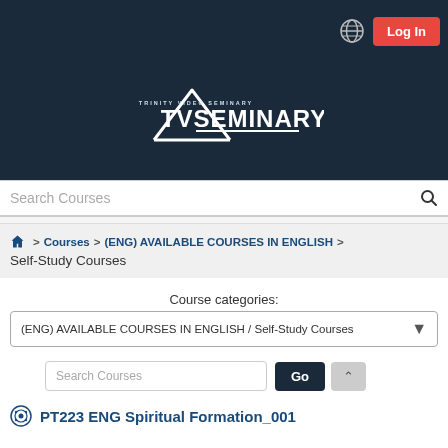[Figure (screenshot): Trinity Video Seminary (TVSEMINARY) logo — white triangle with text on dark navy background]
Search Courses
🏠 > Courses > (ENG) AVAILABLE COURSES IN ENGLISH >
Self-Study Courses
Course categories:
(ENG) AVAILABLE COURSES IN ENGLISH / Self-Study Courses
Search Courses
Go
PT223 ENG Spiritual Formation_001